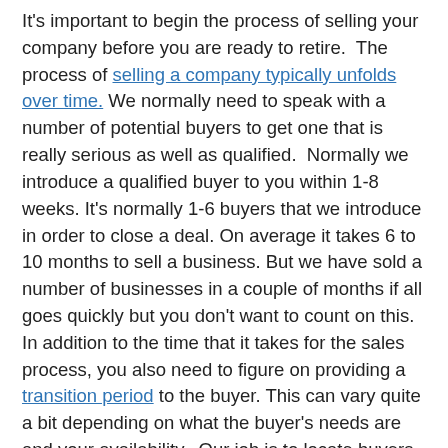It's important to begin the process of selling your company before you are ready to retire. The process of selling a company typically unfolds over time. We normally need to speak with a number of potential buyers to get one that is really serious as well as qualified. Normally we introduce a qualified buyer to you within 1-8 weeks. It's normally 1-6 buyers that we introduce in order to close a deal. On average it takes 6 to 10 months to sell a business. But we have sold a number of businesses in a couple of months if all goes quickly but you don't want to count on this. In addition to the time that it takes for the sales process, you also need to figure on providing a transition period to the buyer. This can vary quite a bit depending on what the buyer's needs are and your availability. Our job is to locate buyers that are willing to acquire your company on terms and pricing that works for both parties.
CONTACT OUR SOUTH CAROLINA BUSINESS BROKER